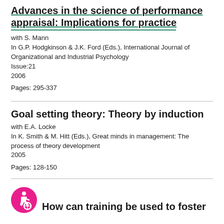Advances in the science of performance appraisal: Implications for practice
with S. Mann
In G.P. Hodgkinson & J.K. Ford (Eds.), International Journal of Organizational and Industrial Psychology
Issue: 21
2006
Pages: 295-337
Goal setting theory: Theory by induction
with E.A. Locke
In K. Smith & M. Hitt (Eds.), Great minds in management: The process of theory development
2005
Pages: 128-150
[Figure (logo): Accessibility icon: pink circle with white wheelchair user symbol]
How can training be used to foster